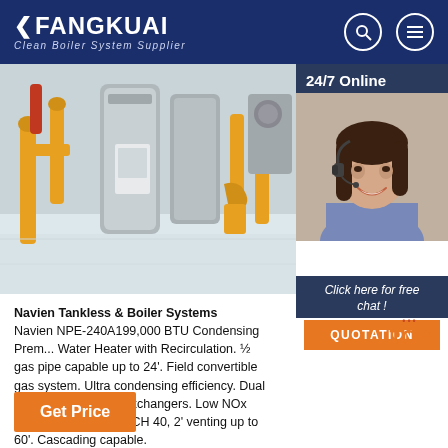FANGKUAI Clean Boiler System Supplier
[Figure (photo): Industrial boiler room with yellow pipes and large cylindrical boiler equipment on reflective floor]
[Figure (photo): 24/7 Online - Customer service representative with headset smiling]
Click here for free chat !
QUOTATION
TOP
Navien Tankless & Boiler Systems
Navien NPE-240A199,000 BTU Condensing Prem... Water Heater with Recirculation. ½ gas pipe capable up to 24'. Field convertible gas system. Ultra condensing efficiency. Dual stainless steel heat exchangers. Low NOx emissions (20ppm) SCH 40, 2' venting up to 60'. Cascading capable.
Get Price